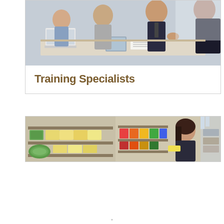[Figure (photo): Business professionals seated around a table in a meeting, with laptops and a tablet visible. Multiple people in suits and business attire appear to be in discussion.]
Training Specialists
[Figure (photo): Retail store scene showing shelves stocked with colorful folded towels and textiles. A smiling young woman with dark hair is visible browsing or working in the store.]